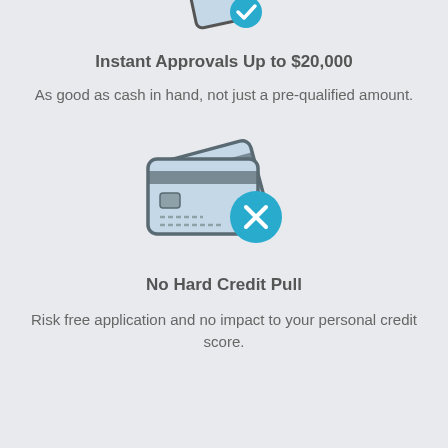[Figure (illustration): Partial credit card icon with a blue checkmark, cropped at the top of the page]
Instant Approvals Up to $20,000
As good as cash in hand, not just a pre-qualified amount.
[Figure (illustration): Two overlapping credit cards with a blue circle containing a white X mark, indicating no hard credit pull]
No Hard Credit Pull
Risk free application and no impact to your personal credit score.